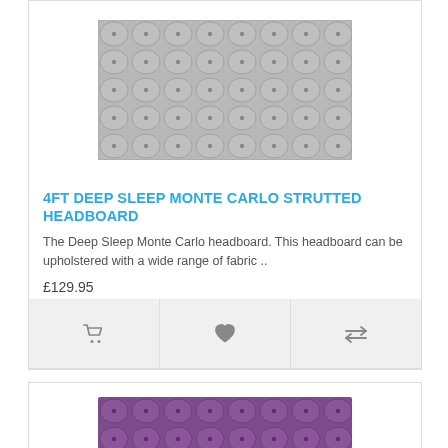[Figure (photo): Grey tufted upholstered headboard with diamond button pattern]
4FT DEEP SLEEP MONTE CARLO STRUTTED HEADBOARD
The Deep Sleep Monte Carlo headboard. This headboard can be upholstered with a wide range of fabric ..
£129.95
[Figure (photo): Purple tufted upholstered headboard, partially visible at bottom of page]